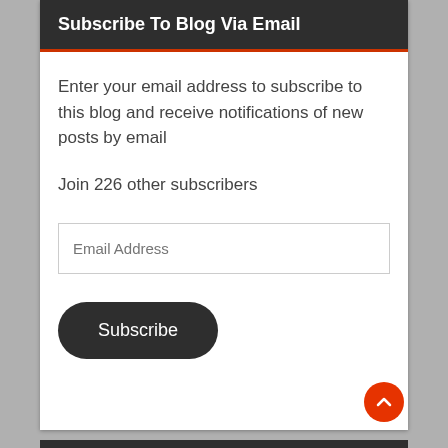Subscribe To Blog Via Email
Enter your email address to subscribe to this blog and receive notifications of new posts by email
Join 226 other subscribers
Email Address
Subscribe